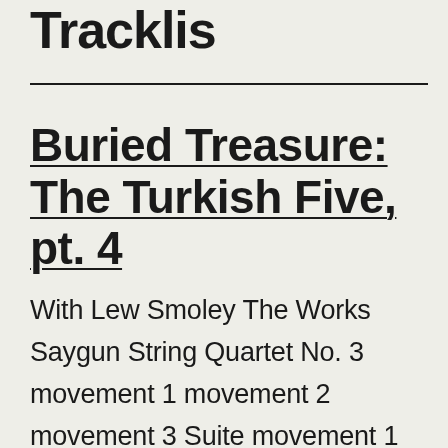Tracklist
Buried Treasure: The Turkish Five, pt. 4
With Lew Smoley The Works Saygun String Quartet No. 3 movement 1 movement 2 movement 3 Suite movement 1 movement 2 movement 3 Violin Concerto movement 1 movement 2 movement 3 Symphony No. 5